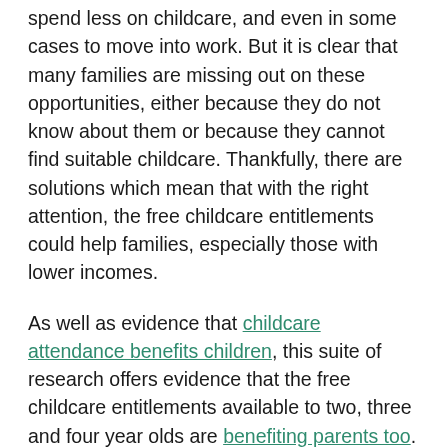spend less on childcare, and even in some cases to move into work. But it is clear that many families are missing out on these opportunities, either because they do not know about them or because they cannot find suitable childcare. Thankfully, there are solutions which mean that with the right attention, the free childcare entitlements could help families, especially those with lower incomes.
As well as evidence that childcare attendance benefits children, this suite of research offers evidence that the free childcare entitlements available to two, three and four year olds are benefiting parents too. For instance, parents who use the 30 hour entitlement tend to find that it saves them money, and parents with lower incomes are more likely to say that this makes a big difference to them.
But the research also highlights several barriers to